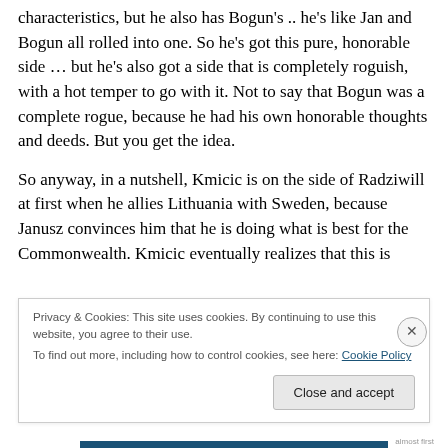characteristics, but he also has Bogun's .. he's like Jan and Bogun all rolled into one. So he's got this pure, honorable side … but he's also got a side that is completely roguish, with a hot temper to go with it. Not to say that Bogun was a complete rogue, because he had his own honorable thoughts and deeds. But you get the idea.
So anyway, in a nutshell, Kmicic is on the side of Radziwill at first when he allies Lithuania with Sweden, because Janusz convinces him that he is doing what is best for the Commonwealth. Kmicic eventually realizes that this is
Privacy & Cookies: This site uses cookies. By continuing to use this website, you agree to their use.
To find out more, including how to control cookies, see here: Cookie Policy